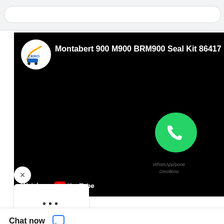[Figure (screenshot): Screenshot of a YouTube video embed showing 'Montabert 900 M900 BRM900 Seal Kit 86417' with CERO logo, a WhatsApp icon overlay, and a 'Watch on YouTube' bar at the bottom. A close (X) button and a more options (...) button are overlaid. A 'Chat now' bar appears at the bottom with a chat icon. Partially visible text reads '9.5-C380 Phenolic ngs Video' at bottom right.]